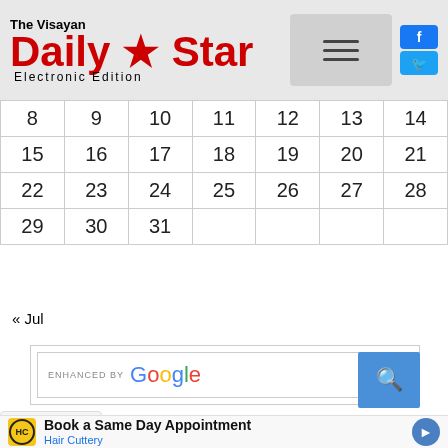[Figure (logo): The Visayan Daily Star Electronic Edition newspaper logo with red bold text and hamburger menu button, Facebook and Twitter social icons]
| 8 | 9 | 10 | 11 | 12 | 13 | 14 |
| 15 | 16 | 17 | 18 | 19 | 20 | 21 |
| 22 | 23 | 24 | 25 | 26 | 27 | 28 |
| 29 | 30 | 31 |  |  |  |  |
« Jul
[Figure (screenshot): Search box with 'ENHANCED BY Google' label and search button]
[Figure (screenshot): Dropdown chevron arrow button]
[Figure (screenshot): Advertisement: Book a Same Day Appointment - Hair Cuttery with HC logo]